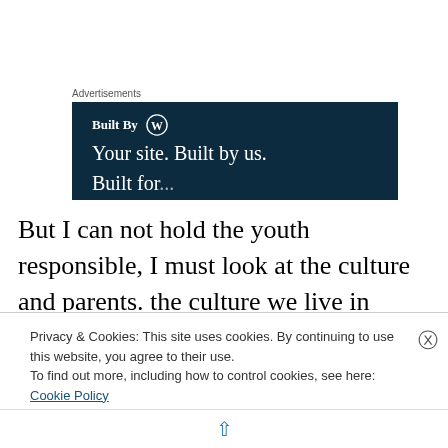Advertisements
[Figure (screenshot): WordPress advertisement banner with dark navy background showing 'Built By' with WordPress logo, 'Your site. Built by us.' tagline and partial text below]
But I can not hold the youth responsible, I must look at the culture and parents. the culture we live in looks down upon faith, treats it almost as a illness to be cured. The schools
Privacy & Cookies: This site uses cookies. By continuing to use this website, you agree to their use.
To find out more, including how to control cookies, see here: Cookie Policy